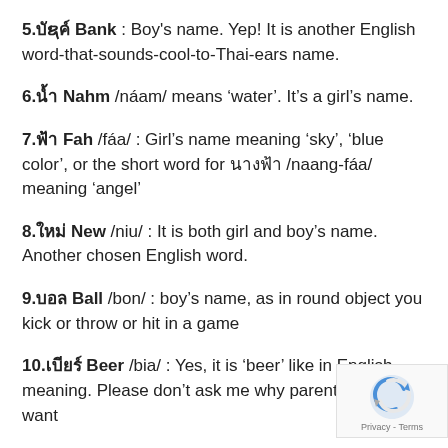5.บั๊งค์ Bank : Boy's name. Yep! It is another English word-that-sounds-cool-to-Thai-ears name.
6.น้ำ Nahm /náam/ means 'water'. It's a girl's name.
7.ฟ้า Fah /fáa/ : Girl's name meaning 'sky', 'blue color', or the short word for นางฟ้า /naang-fáa/ meaning 'angel'
8.ใหม่ New /niu/ : It is both girl and boy's name. Another chosen English word.
9.บอล Ball /bon/ : boy's name, as in round object you kick or throw or hit in a game
10.เบียร์ Beer /bia/ : Yes, it is 'beer' like in English meaning. Please don't ask me why parents would want